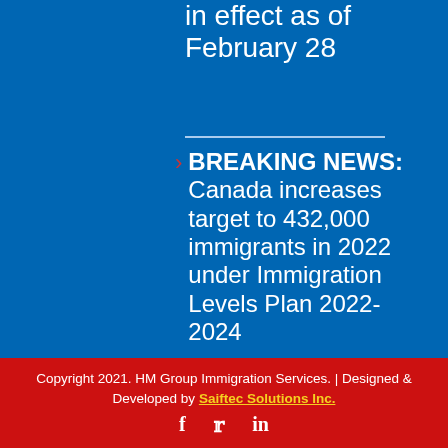in effect as of February 28
BREAKING NEWS: Canada increases target to 432,000 immigrants in 2022 under Immigration Levels Plan 2022-2024
Copyright 2021. HM Group Immigration Services. | Designed & Developed by Saiftec Solutions Inc.